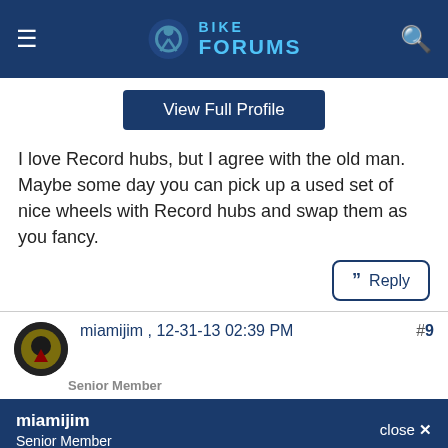Bike Forums
View Full Profile
I love Record hubs, but I agree with the old man. Maybe some day you can pick up a used set of nice wheels with Record hubs and swap them as you fancy.
Reply
miamijim , 12-31-13 02:39 PM
Senior Member
#9
miamijim
Senior Member
close ✕
[Figure (photo): Profile image area showing a dark sports logo (Washington Redskins) on a dark background]
08-13-22